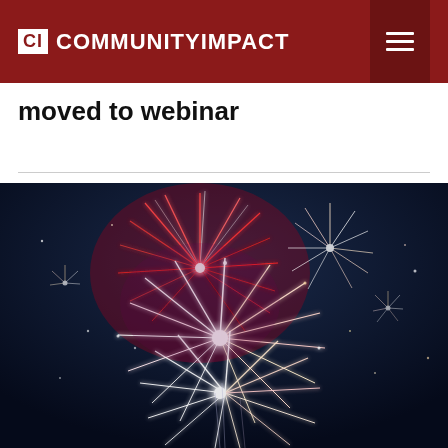CI COMMUNITY IMPACT
moved to webinar
[Figure (photo): Fireworks exploding against a dark night sky, with red, white, and purple bursts and trails of light.]